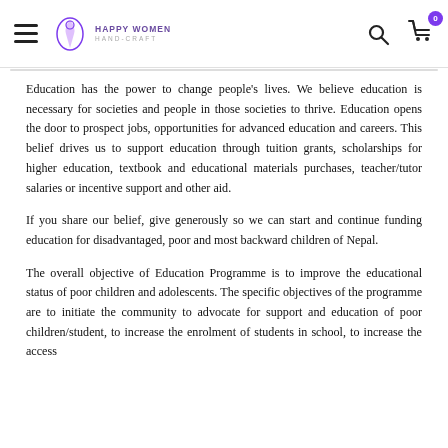Happy Women Hand Craft — navigation header with hamburger menu, logo, search icon, and cart icon with badge 0
Education has the power to change people's lives. We believe education is necessary for societies and people in those societies to thrive. Education opens the door to prospect jobs, opportunities for advanced education and careers. This belief drives us to support education through tuition grants, scholarships for higher education, textbook and educational materials purchases, teacher/tutor salaries or incentive support and other aid.
If you share our belief, give generously so we can start and continue funding education for disadvantaged, poor and most backward children of Nepal.
The overall objective of Education Programme is to improve the educational status of poor children and adolescents. The specific objectives of the programme are to initiate the community to advocate for support and education of poor children/student, to increase the enrolment of students in school, to increase the access